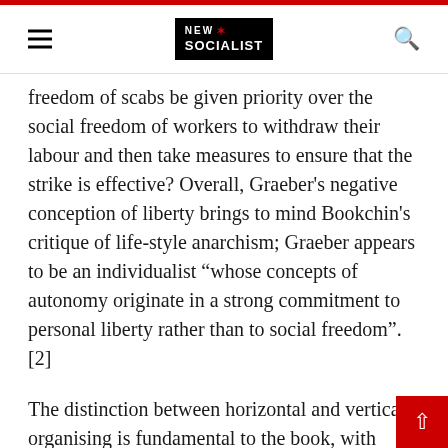new socialist
freedom of scabs be given priority over the social freedom of workers to withdraw their labour and then take measures to ensure that the strike is effective? Overall, Graeber's negative conception of liberty brings to mind Bookchin's critique of life-style anarchism; Graeber appears to be an individualist "whose concepts of autonomy originate in a strong commitment to personal liberty rather than to social freedom". [2]
The distinction between horizontal and vertical organising is fundamental to the book, with anarchists being "horizontals" and members of socialist organisations, trade unions and/or political parties being "verticals". Although the critique of the lack of real democracy within most unions and political parties, and some socialist organisations, is sound, this distinction is